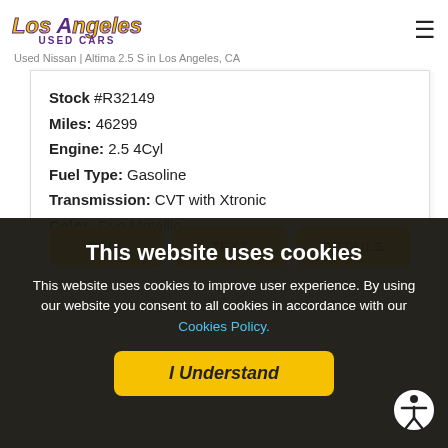YOUR LOS ANGELES USED CAR MEGA STORE
[Figure (logo): Los Angeles Used Cars logo with stylized italic yellow text 'Los Angeles' and purple 'USED CARS' subtitle]
Used Nissan | Altima 2.5 S in Los Angeles, CA
Stock #R32149
Miles: 46299
Engine: 2.5 4Cyl
Fuel Type: Gasoline
Transmission: CVT with Xtronic
Color: Gun Metallic
Drivetrain: FWD
CALL | TEXT | DETAILS
This website uses cookies
This website uses cookies to improve user experience. By using our website you consent to all cookies in accordance with our Cookies Policy.
I Understand